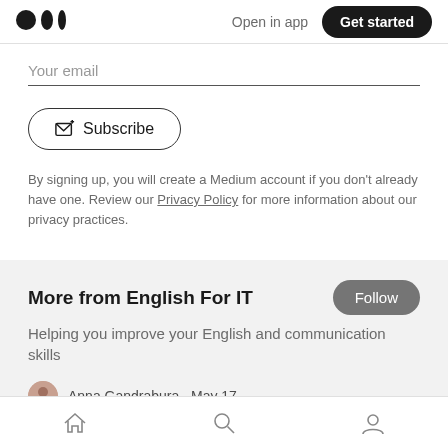Medium logo | Open in app | Get started
Your email
[Figure (other): Subscribe button with envelope icon]
By signing up, you will create a Medium account if you don't already have one. Review our Privacy Policy for more information about our privacy practices.
More from English For IT
Helping you improve your English and communication skills
Anna Gandrabura · May 17
Home | Search | Profile